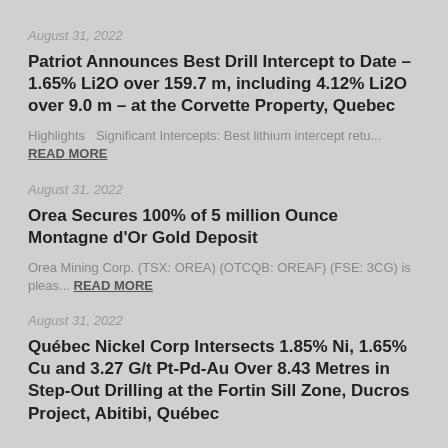August 31, 2022
Patriot Announces Best Drill Intercept to Date – 1.65% Li2O over 159.7 m, including 4.12% Li2O over 9.0 m – at the Corvette Property, Quebec
Highlights   Significant Intercepts: Best lithium intercept retu... READ MORE
August 31, 2022
Orea Secures 100% of 5 million Ounce Montagne d'Or Gold Deposit
Orea Mining Corp. (TSX: OREA) (OTCQB: OREAF) (FSE: 3CG) is pleas... READ MORE
August 31, 2022
Québec Nickel Corp Intersects 1.85% Ni, 1.65% Cu and 3.27 G/t Pt-Pd-Au Over 8.43 Metres in Step-Out Drilling at the Fortin Sill Zone, Ducros Project, Abitibi, Québec